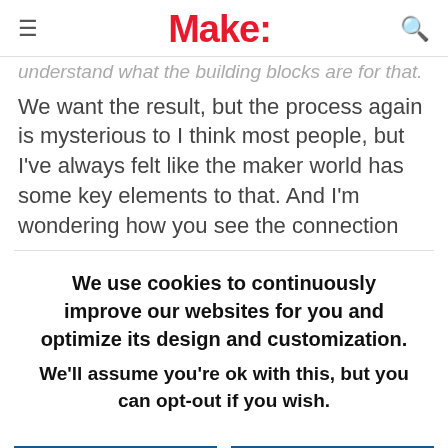Make:
understand what the building blocks are for that.
We want the result, but the process again is mysterious to I think most people, but I've always felt like the maker world has some key elements to that. And I'm wondering how you see the connection
We use cookies to continuously improve our websites for you and optimize its design and customization. We'll assume you're ok with this, but you can opt-out if you wish.
CONFIGURE
ACCEPT